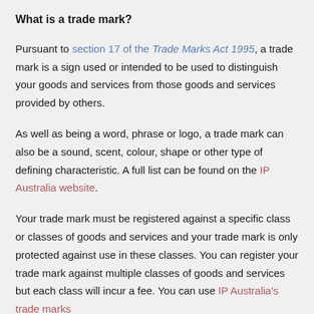What is a trade mark?
Pursuant to section 17 of the Trade Marks Act 1995, a trade mark is a sign used or intended to be used to distinguish your goods and services from those goods and services provided by others.
As well as being a word, phrase or logo, a trade mark can also be a sound, scent, colour, shape or other type of defining characteristic. A full list can be found on the IP Australia website.
Your trade mark must be registered against a specific class or classes of goods and services and your trade mark is only protected against use in these classes. You can register your trade mark against multiple classes of goods and services but each class will incur a fee. You can use IP Australia's trade marks